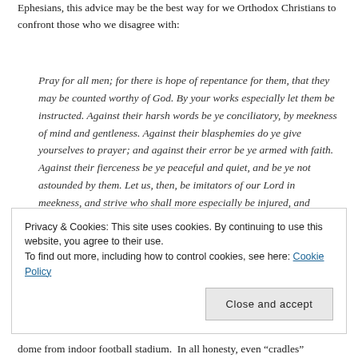Ephesians, this advice may be the best way for we Orthodox Christians to confront those who we disagree with:
Pray for all men; for there is hope of repentance for them, that they may be counted worthy of God. By your works especially let them be instructed. Against their harsh words be ye conciliatory, by meekness of mind and gentleness. Against their blasphemies do ye give yourselves to prayer; and against their error be ye armed with faith. Against their fierceness be ye peaceful and quiet, and be ye not astounded by them. Let us, then, be imitators of our Lord in meekness, and strive who shall more especially be injured, and oppressed, and defrauded.   (chapter 10)
Privacy & Cookies: This site uses cookies. By continuing to use this website, you agree to their use. To find out more, including how to control cookies, see here: Cookie Policy
dome from indoor football stadium.  In all honesty, even “cradles”